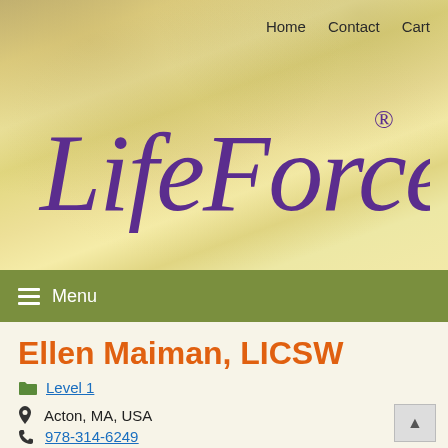Home   Contact   Cart
[Figure (logo): LifeForce Yoga script logo in purple with registered trademark symbol, on parchment-textured background]
≡ Menu
Ellen Maiman, LICSW
Level 1
Acton, MA, USA
978-314-6249
ellenmaiman@yahoo.com